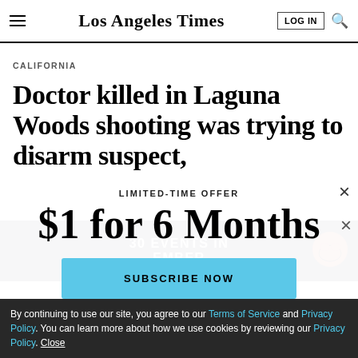Los Angeles Times
CALIFORNIA
Doctor killed in Laguna Woods shooting was trying to disarm suspect,
LIMITED-TIME OFFER
$1 for 6 Months
SUBSCRIBE NOW
30 EVENTS IN EMBER
By continuing to use our site, you agree to our Terms of Service and Privacy Policy. You can learn more about how we use cookies by reviewing our Privacy Policy. Close